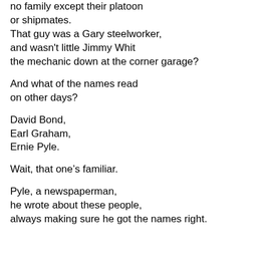no family except their platoon
or shipmates.
That guy was a Gary steelworker,
and wasn't little Jimmy Whit
the mechanic down at the corner garage?
And what of the names read
on other days?
David Bond,
Earl Graham,
Ernie Pyle.
Wait, that one's familiar.
Pyle, a newspaperman,
he wrote about these people,
always making sure he got the names right.